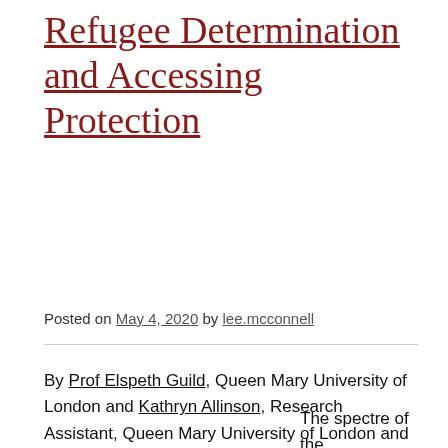Refugee Determination and Accessing Protection
Posted on May 4, 2020 by lee.mcconnell
By Prof Elspeth Guild, Queen Mary University of London and Kathryn Allinson, Research Assistant, Queen Mary University of London and Teaching Associate, University of Bristol.
The spectre of the